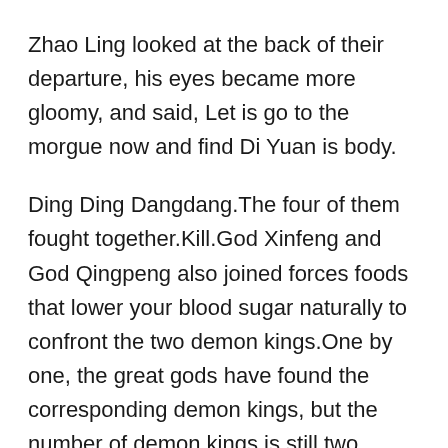Zhao Ling looked at the back of their departure, his eyes became more gloomy, and said, Let is go to the morgue now and find Di Yuan is body.
Ding Ding Dangdang.The four of them fought together.Kill.God Xinfeng and God Qingpeng also joined forces foods that lower your blood sugar naturally to confront the two demon kings.One by one, the great gods have found the corresponding demon kings, but the number of demon kings is still two more.
He could not tell whether Master Bai Tu was real or not, because the whole movement of this man was exactly the same as that of Master Bai Tu.
How is it Can you How To Lower Blood Sugar Herbs diabetic depression drugs hold on signs blood sugar Zhao Ling patted